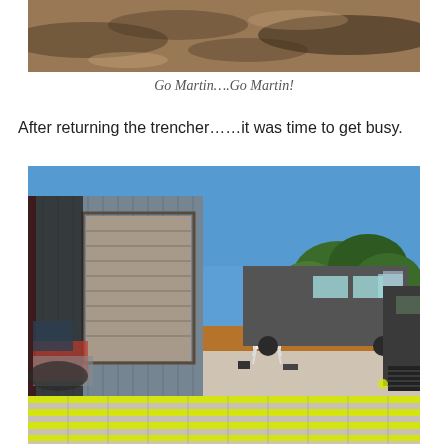[Figure (photo): Aerial or ground-level photo showing dirt/gravel ground with shadows, partially cropped at top of page]
Go Martin….Go Martin!
After returning the trencher……it was time to get busy.
[Figure (photo): Outdoor photo showing a metal building with a roll-up garage door on the left, a white plastic chair, an RV/motorhome parked in the background, trees and blue sky behind, and yellow conduit pipes laid out in a grid pattern on concrete in the foreground, with various equipment and tools around.]